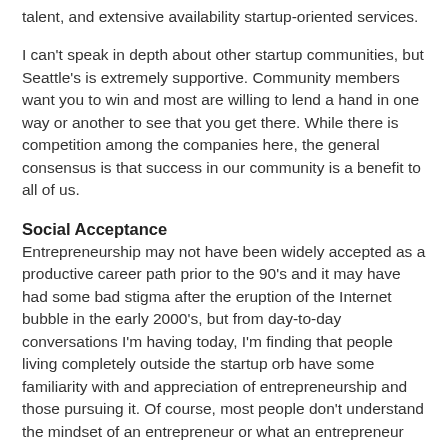talent, and extensive availability startup-oriented services.
I can't speak in depth about other startup communities, but Seattle's is extremely supportive. Community members want you to win and most are willing to lend a hand in one way or another to see that you get there. While there is competition among the companies here, the general consensus is that success in our community is a benefit to all of us.
Social Acceptance
Entrepreneurship may not have been widely accepted as a productive career path prior to the 90's and it may have had some bad stigma after the eruption of the Internet bubble in the early 2000's, but from day-to-day conversations I'm having today, I'm finding that people living completely outside the startup orb have some familiarity with and appreciation of entrepreneurship and those pursuing it. Of course, most people don't understand the mindset of an entrepreneur or what an entrepreneur goes through to build their business, but fortunately, our supportive startup communities help us to cope with the emotional challenges of entrepreneurship.